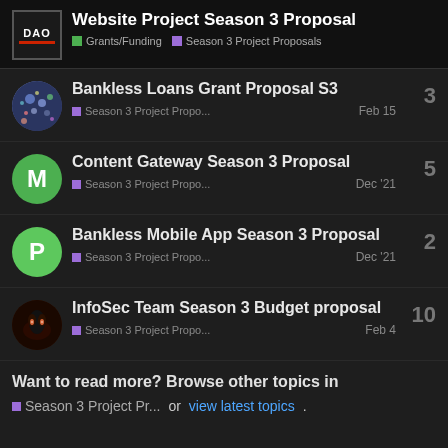Website Project Season 3 Proposal | Grants/Funding | Season 3 Project Proposals
Bankless Loans Grant Proposal S3 | Season 3 Project Propo... | Feb 15 | replies: 3
Content Gateway Season 3 Proposal | Season 3 Project Propo... | Dec '21 | replies: 5
Bankless Mobile App Season 3 Proposal | Season 3 Project Propo... | Dec '21 | replies: 2
InfoSec Team Season 3 Budget proposal | Season 3 Project Propo... | Feb 4 | replies: 10
Want to read more? Browse other topics in Season 3 Project Pr... or view latest topics.